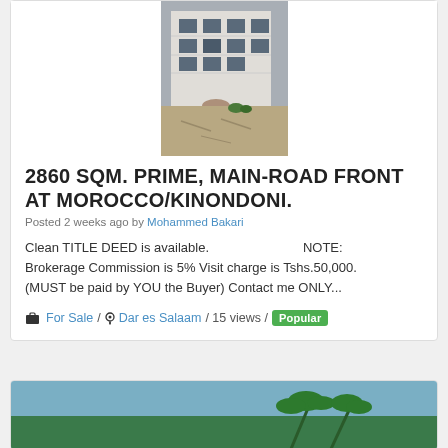[Figure (photo): Exterior photo of a multi-story white building with sandy ground in front, partially cropped]
2860 SQM. PRIME, MAIN-ROAD FRONT AT MOROCCO/KINONDONI.
Posted 2 weeks ago by Mohammed Bakari
Clean TITLE DEED is available. ________________ NOTE: Brokerage Commission is 5% Visit charge is Tshs.50,000. (MUST be paid by YOU the Buyer) Contact me ONLY...
For Sale / Dar es Salaam / 15 views / Popular
[Figure (photo): Partial view of a second listing card showing a photo with palm trees and sky, cropped at bottom of page]